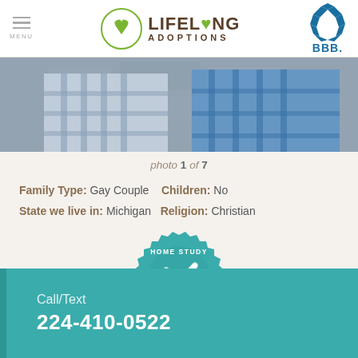Lifelong Adoptions — MENU / BBB A+
[Figure (photo): Two people in plaid shirts sitting together, partial torso view]
photo 1 of 7
Family Type: Gay Couple   Children: No
State we live in: Michigan   Religion: Christian
[Figure (illustration): Home Study Approved badge/seal with checkmark, teal and green colors]
Call/Text
224-410-0522